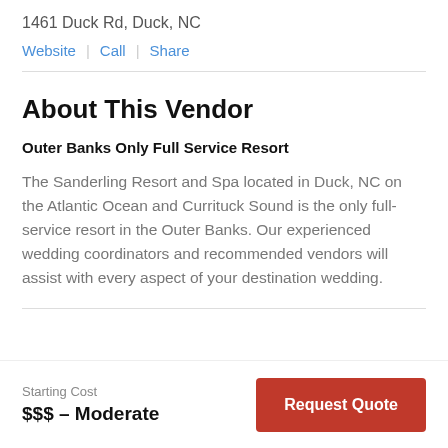1461 Duck Rd, Duck, NC
Website | Call | Share
About This Vendor
Outer Banks Only Full Service Resort
The Sanderling Resort and Spa located in Duck, NC on the Atlantic Ocean and Currituck Sound is the only full-service resort in the Outer Banks. Our experienced wedding coordinators and recommended vendors will assist with every aspect of your destination wedding.
Starting Cost
$$$ – Moderate
Request Quote